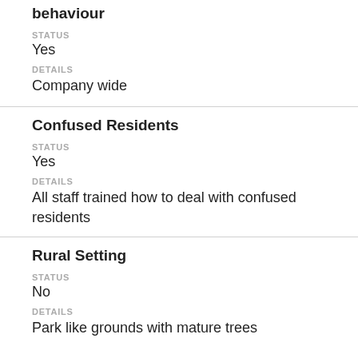behaviour
STATUS
Yes
DETAILS
Company wide
Confused Residents
STATUS
Yes
DETAILS
All staff trained how to deal with confused residents
Rural Setting
STATUS
No
DETAILS
Park like grounds with mature trees